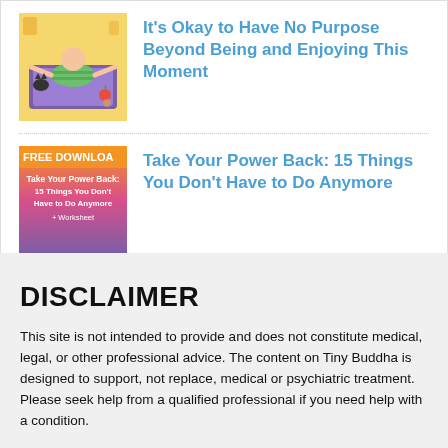[Figure (illustration): Child lying on a colorful mat/book with small cat, yellow background, illustrated style]
It's Okay to Have No Purpose Beyond Being and Enjoying This Moment
[Figure (illustration): FREE DOWNLOAD promotional image with orange-pink gradient background reading 'Take Your Power Back: 15 Things You Don't Have to Do Anymore + Worksheet']
Take Your Power Back: 15 Things You Don't Have to Do Anymore
DISCLAIMER
This site is not intended to provide and does not constitute medical, legal, or other professional advice. The content on Tiny Buddha is designed to support, not replace, medical or psychiatric treatment. Please seek help from a qualified professional if you need help with a condition.